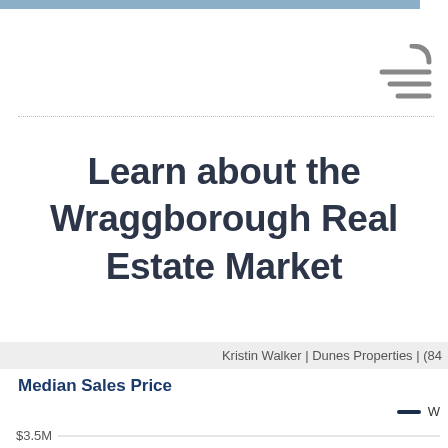Learn about the Wraggborough Real Estate Market
Kristin Walker | Dunes Properties | (84
Median Sales Price
[Figure (line-chart): Partial line chart showing Median Sales Price with y-axis labels $3.5M, $3.0M, $2.5M. Chart is cut off at bottom of page.]